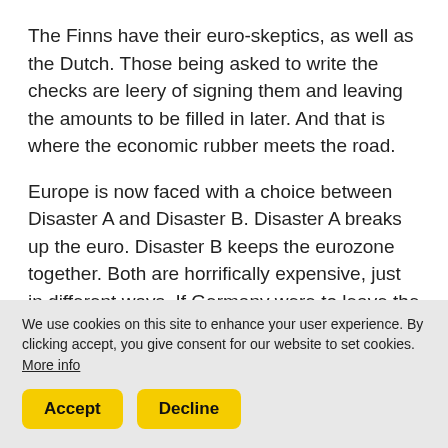The Finns have their euro-skeptics, as well as the Dutch. Those being asked to write the checks are leery of signing them and leaving the amounts to be filled in later. And that is where the economic rubber meets the road.
Europe is now faced with a choice between Disaster A and Disaster B. Disaster A breaks up the euro. Disaster B keeps the eurozone together. Both are horrifically expensive, just in different ways. If Germany were to leave the euro it would mean an almost immediate appreciation of the new deutschmark – and a serious hit to their export machine, which is 40% of their
We use cookies on this site to enhance your user experience. By clicking accept, you give consent for our website to set cookies. More info
Accept | Decline